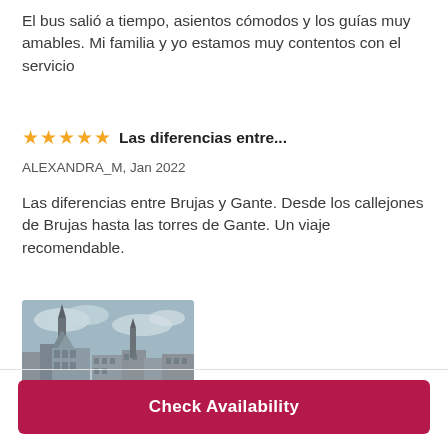El bus salió a tiempo, asientos cómodos y los guías muy amables. Mi familia y yo estamos muy contentos con el servicio
⭐⭐⭐⭐⭐  Las diferencias entre...
ALEXANDRA_M, Jan 2022
Las diferencias entre Brujas y Gante. Desde los callejones de Brujas hasta las torres de Gante. Un viaje recomendable.
[Figure (photo): Photo of a European city with Gothic architecture, tall spires and historic guild houses along a street, overcast sky]
Check Availability